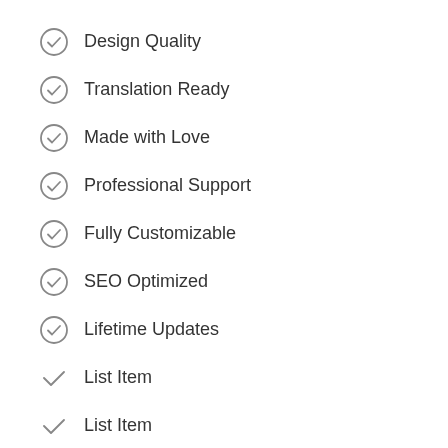Design Quality
Translation Ready
Made with Love
Professional Support
Fully Customizable
SEO Optimized
Lifetime Updates
List Item
List Item
List Item
List Item